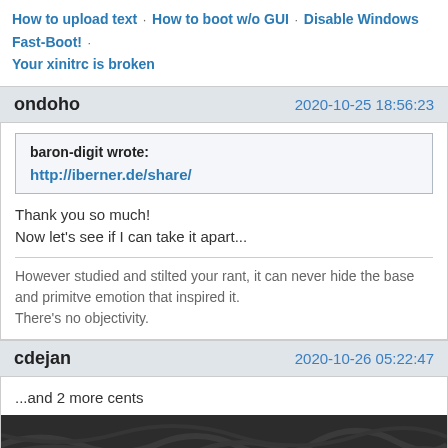How to upload text · How to boot w/o GUI · Disable Windows Fast-Boot! · Your xinitrc is broken
ondoho   2020-10-25 18:56:23
baron-digit wrote:
http://iberner.de/share/
Thank you so much!
Now let's see if I can take it apart...
However studied and stilted your rant, it can never hide the base and primitve emotion that inspired it.
There's no objectivity.
cdejan   2020-10-26 05:22:47
...and 2 more cents
[Figure (photo): Dark textured background image, dark grey/black surface with subtle pattern]